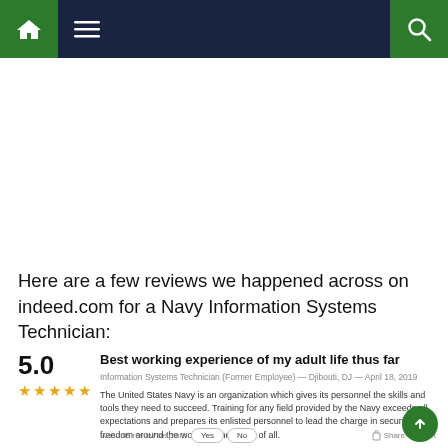[Figure (screenshot): Navigation bar with home icon (green background), hamburger menu, and search icon (green background) on dark navy background]
Here are a few reviews we happened across on indeed.com for a Navy Information Systems Technician:
5.0
[Figure (other): 5 gold stars rating]
Best working experience of my adult life thus far
Information Systems Technician (Former Employee) — Djibouti, DJ — April 18, 2019
The United States Navy is an organization which gives its personnel the skills and tools they need to succeed. Training for any field provided by the Navy exceeds all expectations and prepares its enlisted personnel to lead the charge in securing freedom around the world for the better of all.
Was this review helpful?
Yes  No  Share  Report